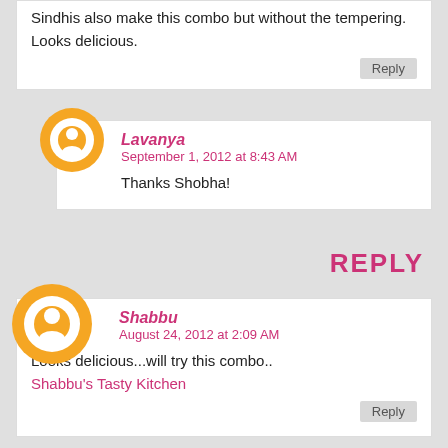Sindhis also make this combo but without the tempering.
Looks delicious.
Reply
Lavanya
September 1, 2012 at 8:43 AM
Thanks Shobha!
REPLY
Shabbu
August 24, 2012 at 2:09 AM
Looks delicious...will try this combo..
Shabbu's Tasty Kitchen
Reply